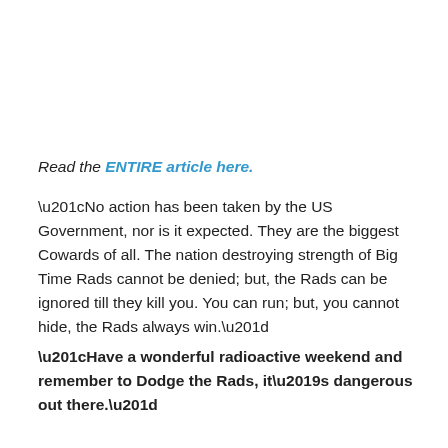Read the ENTIRE article here.
“No action has been taken by the US Government, nor is it expected. They are the biggest Cowards of all. The nation destroying strength of Big Time Rads cannot be denied; but, the Rads can be ignored till they kill you. You can run; but, you cannot hide, the Rads always win.”
“Have a wonderful radioactive weekend and remember to Dodge the Rads, it’s dangerous out there.”